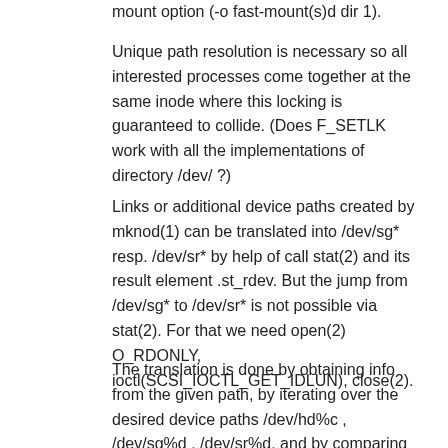mount option (-o fast-mount(s)d dir 1).
Unique path resolution is necessary so all interested processes come together at the same inode where this locking is guaranteed to collide. (Does F_SETLK work with all the implementations of directory /dev/ ?)
Links or additional device paths created by mknod(1) can be translated into /dev/sg* resp. /dev/sr* by help of call stat(2) and its result element .st_rdev. But the jump from /dev/sg* to /dev/sr* is not possible via stat(2). For that we need open(2) O_RDONLY, ioctl(SCSI_IOCTL_GET_IDLUN), close(2).
The translation is done by obtaining info from the given path, by iterating over the desired device paths /dev/hd%c , /dev/sg%d , /dev/sr%d, and by comparing their info with the one we look for. Kernel 2.6: If the result is a /dev/sg%d then it has to be translated into a /dev/hd%c in another step.